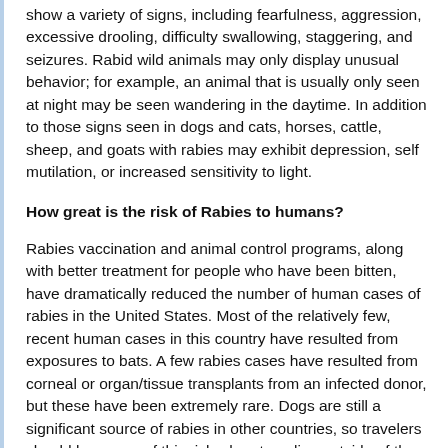show a variety of signs, including fearfulness, aggression, excessive drooling, difficulty swallowing, staggering, and seizures. Rabid wild animals may only display unusual behavior; for example, an animal that is usually only seen at night may be seen wandering in the daytime. In addition to those signs seen in dogs and cats, horses, cattle, sheep, and goats with rabies may exhibit depression, self mutilation, or increased sensitivity to light.
How great is the risk of Rabies to humans?
Rabies vaccination and animal control programs, along with better treatment for people who have been bitten, have dramatically reduced the number of human cases of rabies in the United States. Most of the relatively few, recent human cases in this country have resulted from exposures to bats. A few rabies cases have resulted from corneal or organ/tissue transplants from an infected donor, but these have been extremely rare. Dogs are still a significant source of rabies in other countries, so travelers should be aware of this risk when traveling outside of the United States.